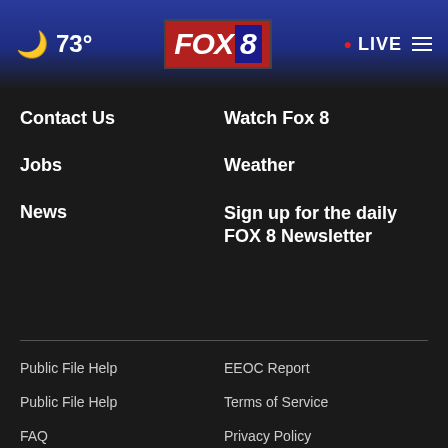73° FOX 8 • LIVE
Contact Us
Watch Fox 8
Jobs
Weather
News
Sign up for the daily FOX 8 Newsletter
Public File Help
EEOC Report
Public File Help
Terms of Service
FAQ
Privacy Policy
Terms Of Use
Do Not Sell My Personal Information